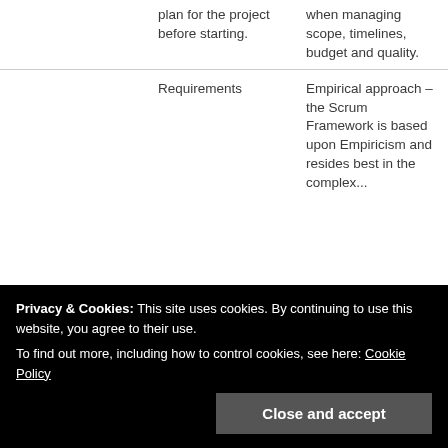|  |  |  |
| --- | --- | --- |
|  | plan for the project before starting. | when managing scope, timelines, budget and quality. |
|  | Requirements | Empirical approach – the Scrum Framework is based upon Empiricism and resides best in the complex... inspect and adapt. This... |
Privacy & Cookies: This site uses cookies. By continuing to use this website, you agree to their use. To find out more, including how to control cookies, see here: Cookie Policy
Close and accept